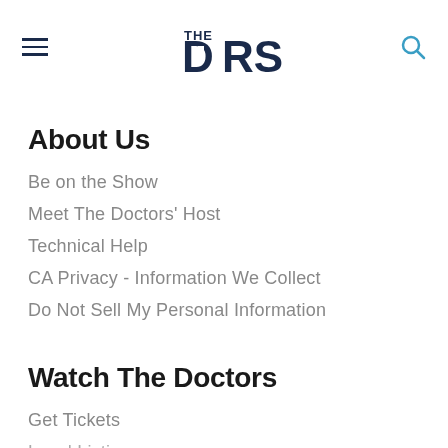THE DRS — navigation header with hamburger menu and search icon
About Us
Be on the Show
Meet The Doctors' Host
Technical Help
CA Privacy - Information We Collect
Do Not Sell My Personal Information
Watch The Doctors
Get Tickets
Local Listings